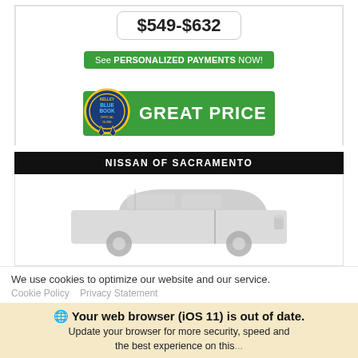$549-$632
See PERSONALIZED PAYMENTS NOW!
[Figure (logo): Kelley Blue Book badge with GREAT PRICE green banner]
NISSAN OF SACRAMENTO
[Figure (photo): Faded gray pickup truck (Nissan Frontier) facing left on white background]
We use cookies to optimize our website and our service.
Cookie Policy   Privacy Statement
Your web browser (iOS 11) is out of date. Update your browser for more security, speed and the best experience on this...
Update browser
Ignore